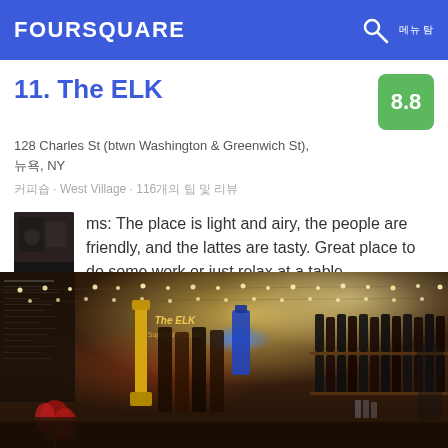FOURSQUARE
11. The ELK
128 Charles St (btwn Washington & Greenwich St), 뉴욕, NY
커피숍 · West Village · 116개의 팁 및 리뷰
ms: The place is light and airy, the people are friendly, and the lattes are tasty. Great place to do some work or just relax at a table.
[Figure (photo): Interior photo of The ELK bar/cafe showing a warm, dimly lit bar with string lights, wine bottles on shelves, golden beer taps, a menu chalkboard on the left, and red flowers in the foreground.]